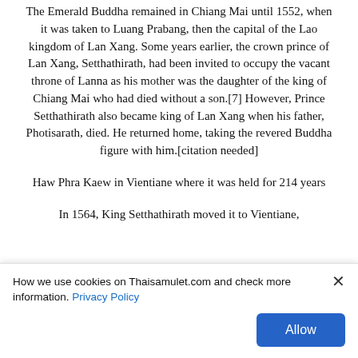The Emerald Buddha remained in Chiang Mai until 1552, when it was taken to Luang Prabang, then the capital of the Lao kingdom of Lan Xang. Some years earlier, the crown prince of Lan Xang, Setthathirath, had been invited to occupy the vacant throne of Lanna as his mother was the daughter of the king of Chiang Mai who had died without a son.[7] However, Prince Setthathirath also became king of Lan Xang when his father, Photisarath, died. He returned home, taking the revered Buddha figure with him.[citation needed]
Haw Phra Kaew in Vientiane where it was held for 214 years
In 1564, King Setthathirath moved it to Vientiane,
How we use cookies on Thaisamulet.com and check more information. Privacy Policy